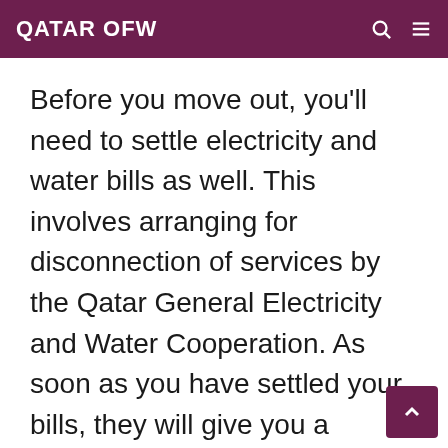QATAR OFW
Before you move out, you’ll need to settle electricity and water bills as well. This involves arranging for disconnection of services by the Qatar General Electricity and Water Cooperation. As soon as you have settled your bills, they will give you a Clearance Certificate, which your landlord may require as proof that all your bills have been paid.